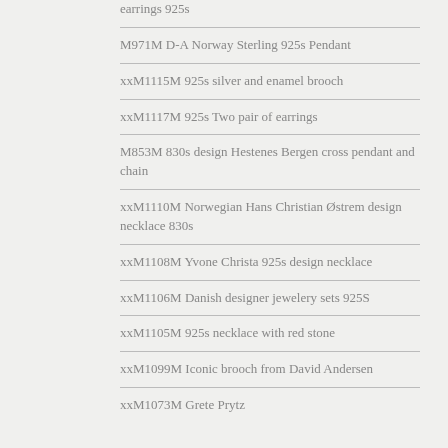earrings 925s
M971M D-A Norway Sterling 925s Pendant
xxM1115M 925s silver and enamel brooch
xxM1117M 925s Two pair of earrings
M853M 830s design Hestenes Bergen cross pendant and chain
xxM1110M Norwegian Hans Christian Østrem design necklace 830s
xxM1108M Yvone Christa 925s design necklace
xxM1106M Danish designer jewelery sets 925S
xxM1105M 925s necklace with red stone
xxM1099M Iconic brooch from David Andersen
xxM1073M Grete Prytz